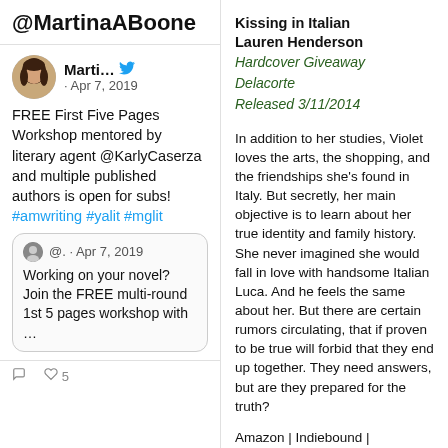@MartinaABoone
FREE First Five Pages Workshop mentored by literary agent @KarlyCaserza and multiple published authors is open for subs! #amwriting #yalit #mglit
Working on your novel? Join the FREE multi-round 1st 5 pages workshop with …
Kissing in Italian
Lauren Henderson
Hardcover Giveaway
Delacorte
Released 3/11/2014
In addition to her studies, Violet loves the arts, the shopping, and the friendships she's found in Italy. But secretly, her main objective is to learn about her true identity and family history. She never imagined she would fall in love with handsome Italian Luca. And he feels the same about her. But there are certain rumors circulating, that if proven to be true will forbid that they end up together. They need answers, but are they prepared for the truth?
Amazon | Indiebound | Goodreads